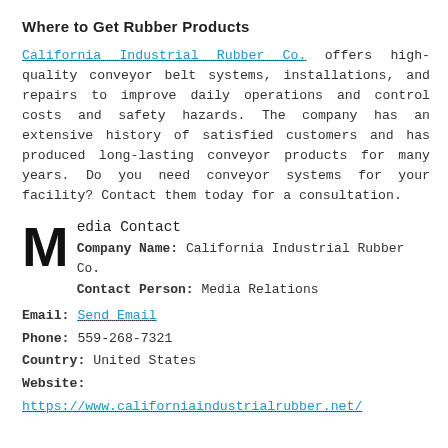Where to Get Rubber Products
California Industrial Rubber Co. offers high-quality conveyor belt systems, installations, and repairs to improve daily operations and control costs and safety hazards. The company has an extensive history of satisfied customers and has produced long-lasting conveyor products for many years. Do you need conveyor systems for your facility? Contact them today for a consultation.
Media Contact
Company Name: California Industrial Rubber Co.
Contact Person: Media Relations
Email: Send Email
Phone: 559-268-7321
Country: United States
Website: https://www.californiaindustrialrubber.net/